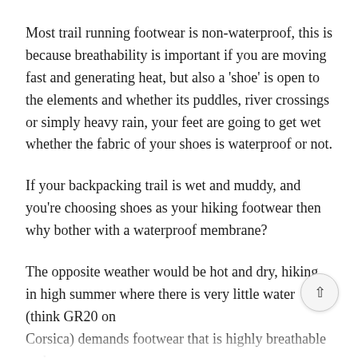Most trail running footwear is non-waterproof, this is because breathability is important if you are moving fast and generating heat, but also a 'shoe' is open to the elements and whether its puddles, river crossings or simply heavy rain, your feet are going to get wet whether the fabric of your shoes is waterproof or not.
If your backpacking trail is wet and muddy, and you're choosing shoes as your hiking footwear then why bother with a waterproof membrane?
The opposite weather would be hot and dry, hiking in high summer where there is very little water (think GR20 on Corsica) demands footwear that is highly breathable and there's no need for waterproofing — non waterproof